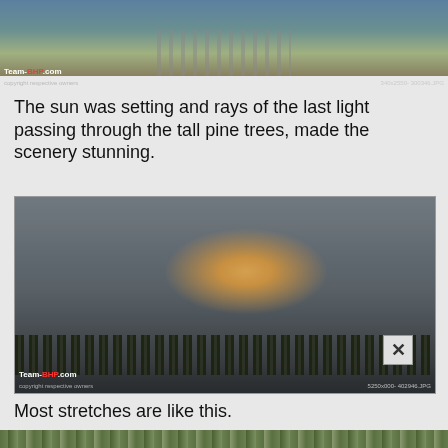[Figure (photo): Partial view of a road or railway scene with gravel and green vegetation, Team-BHP.com watermark visible at bottom left]
The sun was setting and rays of the last light passing through the tall pine trees, made the scenery stunning.
[Figure (photo): Misty mountain landscape at dusk with silhouetted pine trees and a warm golden glow breaking through cloud cover, Team-BHP.com watermark visible, X close button in lower right]
Most stretches are like this.
[Figure (photo): Partial bottom strip showing forested road scene through pine trees]